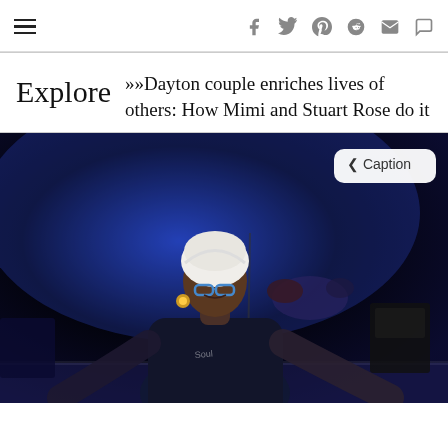≡  f  𝕏  𝑝  reddit  ✉  💬
Explore
»»Dayton couple enriches lives of others: How Mimi and Stuart Rose do it
[Figure (photo): A woman wearing a white head wrap and blue glasses, with gold hoop earrings, performing or speaking on a stage with blue lighting and musical instruments in the background. A caption button is visible in the upper right corner of the photo.]